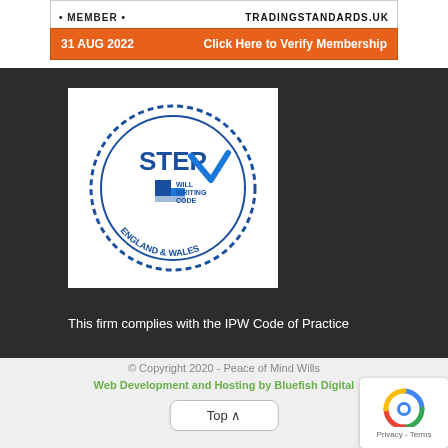[Figure (infographic): Trading Standards approved code banner with date 31 AUG 2022 and orange bar saying Click Here to Verify Membership]
[Figure (logo): STEP Will Writing Code England & Wales circular logo with blue checkmark]
This firm complies with the IPW Code of Practice
© Copyright 2020 - Peace of Mind Wills
Web Development and Hosting by Bluefish Digital
[Figure (other): Top ^ navigation button]
[Figure (other): reCAPTCHA Privacy - Terms widget]